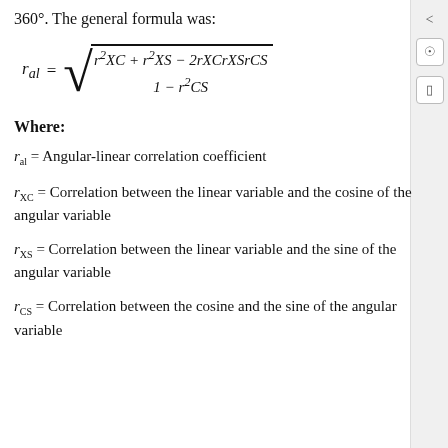360°. The general formula was:
Where:
r_al = Angular-linear correlation coefficient
r_XC = Correlation between the linear variable and the cosine of the angular variable
r_XS = Correlation between the linear variable and the sine of the angular variable
r_CS = Correlation between the cosine and the sine of the angular variable